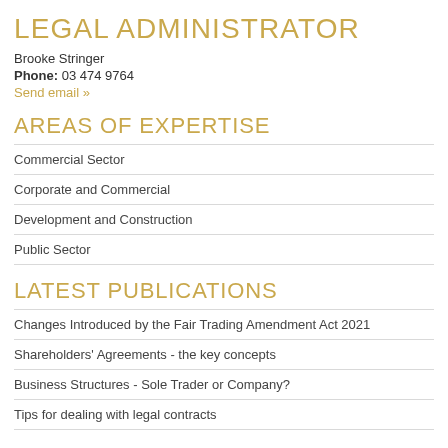LEGAL ADMINISTRATOR
Brooke Stringer
Phone: 03 474 9764
Send email »
AREAS OF EXPERTISE
Commercial Sector
Corporate and Commercial
Development and Construction
Public Sector
LATEST PUBLICATIONS
Changes Introduced by the Fair Trading Amendment Act 2021
Shareholders' Agreements - the key concepts
Business Structures - Sole Trader or Company?
Tips for dealing with legal contracts